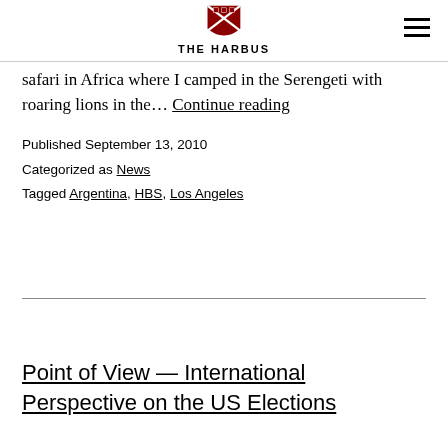THE HARBUS
safari in Africa where I camped in the Serengeti with roaring lions in the… Continue reading
Published September 13, 2010
Categorized as News
Tagged Argentina, HBS, Los Angeles
Point of View — International Perspective on the US Elections